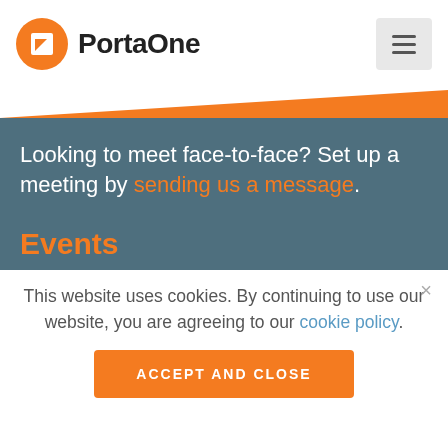PortaOne
Looking to meet face-to-face? Set up a meeting by sending us a message.
Events
[Figure (illustration): Partial purple circle/avatar visible at bottom of dark teal section]
This website uses cookies. By continuing to use our website, you are agreeing to our cookie policy.
ACCEPT AND CLOSE